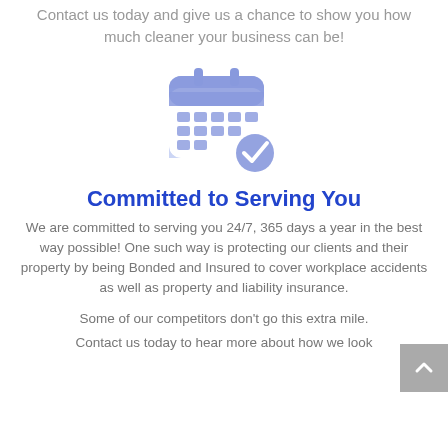Contact us today and give us a chance to show you how much cleaner your business can be!
[Figure (illustration): Blue calendar icon with a blue checkmark circle badge in the bottom right corner]
Committed to Serving You
We are committed to serving you 24/7, 365 days a year in the best way possible! One such way is protecting our clients and their property by being Bonded and Insured to cover workplace accidents as well as property and liability insurance.
Some of our competitors don't go this extra mile.
Contact us today to hear more about how we look